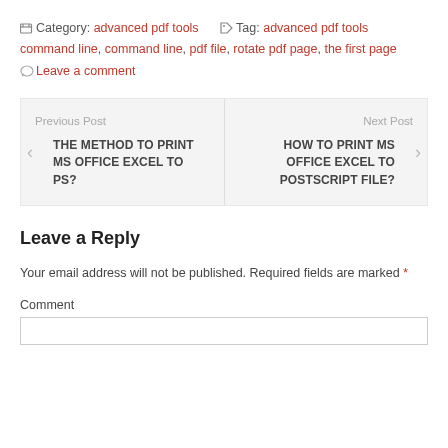Category: advanced pdf tools   Tag: advanced pdf tools command line, command line, pdf file, rotate pdf page, the first page   Leave a comment
Previous Post THE METHOD TO PRINT MS OFFICE EXCEL TO PS?
Next Post HOW TO PRINT MS OFFICE EXCEL TO POSTSCRIPT FILE?
Leave a Reply
Your email address will not be published. Required fields are marked *
Comment